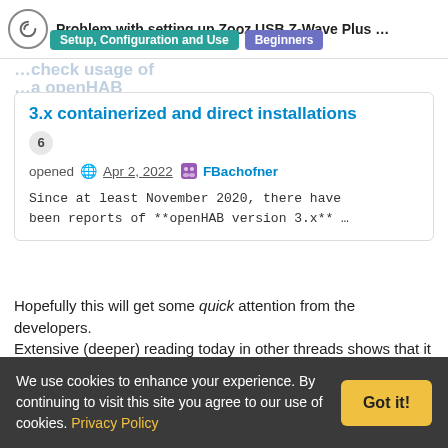Problem with setting up Zooz USB Z-Wave Plus ...
Setup, Configuration and Use   Beginners
3.x containerized and direct installations
6
opened ● Apr 2, 2022   FBachofner
Since at least November 2020, there have been reports of **openHAB version 3.x** …
Hopefully this will get some quick attention from the developers.
Extensive (deeper) reading today in other threads shows that it has even affected some new installs on RPi (openHABian)
When a home automation hub blocks installation of a critical
We use cookies to enhance your experience. By continuing to visit this site you agree to our use of cookies. Privacy Policy